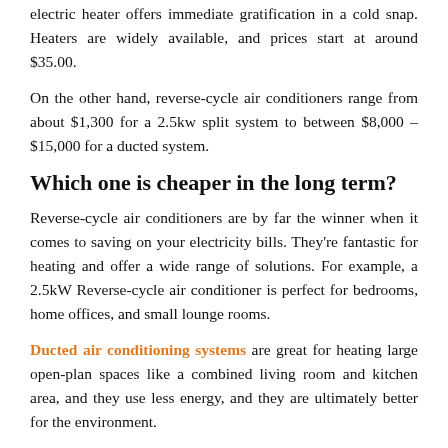electric heater offers immediate gratification in a cold snap. Heaters are widely available, and prices start at around $35.00.
On the other hand, reverse-cycle air conditioners range from about $1,300 for a 2.5kw split system to between $8,000 – $15,000 for a ducted system.
Which one is cheaper in the long term?
Reverse-cycle air conditioners are by far the winner when it comes to saving on your electricity bills. They're fantastic for heating and offer a wide range of solutions. For example, a 2.5kW Reverse-cycle air conditioner is perfect for bedrooms, home offices, and small lounge rooms.
Ducted air conditioning systems are great for heating large open-plan spaces like a combined living room and kitchen area, and they use less energy, and they are ultimately better for the environment.
Best of all, your reverse cycle air conditioner will keep you cool